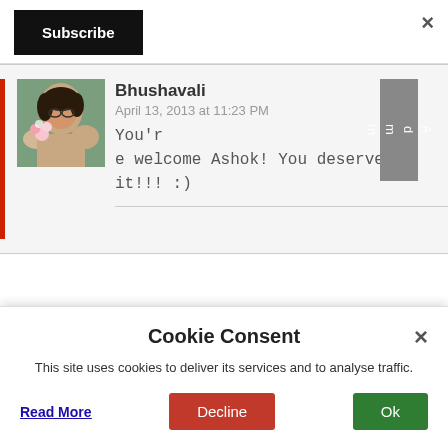[Figure (screenshot): Black Subscribe button on white background, top left]
×
[Figure (photo): Profile photo of a person with flowers, used as comment avatar]
Admin
Bhushavali
April 13, 2013 at 11:23 PM
You're welcome Ashok! You deserve it!!! :)
Cookie Consent
×
This site uses cookies to deliver its services and to analyse traffic.
Read More
Decline
Ok